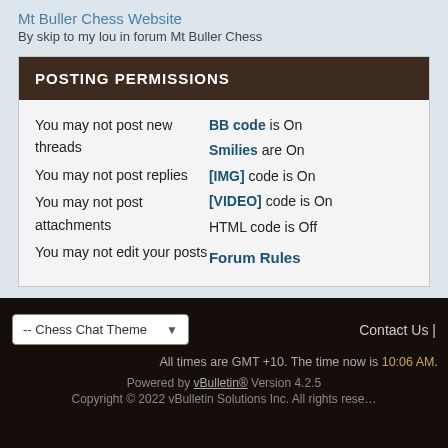Mt Buller Chess Website
By skip to my lou in forum Mt Buller Chess
POSTING PERMISSIONS
You may not post new threads
You may not post replies
You may not post attachments
You may not edit your posts
BB code is On
Smilies are On
[IMG] code is On
[VIDEO] code is On
HTML code is Off
Forum Rules
-- Chess Chat Theme | Contact Us | All times are GMT +10. The time now is 10:06 AM. | Powered by vBulletin® Version 4.2.5 | Copyright © 2022 vBulletin Solutions Inc. All rights reserved.